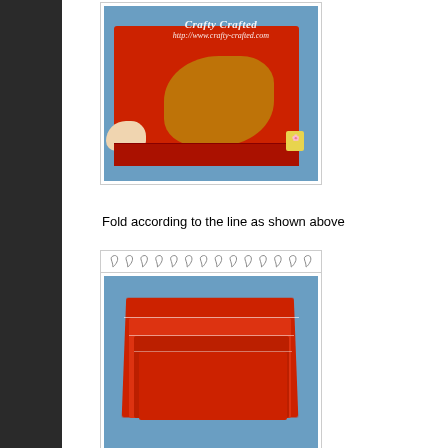[Figure (photo): A red decorative bag/packet with gold design and 'Crafty Crafted' watermark being held and folded, shown against a blue background]
Fold according to the line as shown above
[Figure (photo): A red folded bag/packet showing accordion-style folds, displayed against a blue background with 'Crafty Crafted' text visible at bottom, with spiral binding decoration at top of image frame]